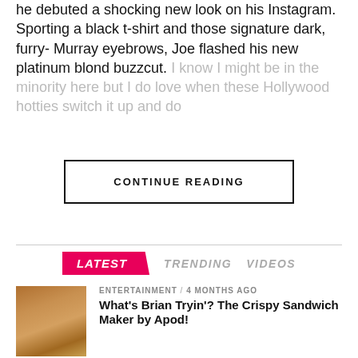he debuted a shocking new look on his Instagram. Sporting a black t-shirt and those signature dark, furry-Murray eyebrows, Joe flashed his new platinum blond buzzcut. I know I might be in the minority here but I do love when these Hollywood hotties switch it up and do
CONTINUE READING
LATEST   TRENDING   VIDEOS
ENTERTAINMENT / 4 months ago
What's Brian Tryin'? The Crispy Sandwich Maker by Apod!
[Figure (photo): Photo of a crispy sandwich]
AS SEEN ON THE WENDY WILLIAMS SHOW / 1 year ago
Check Out The Viral Foods Trending Now!
[Figure (photo): Photo of a man reading a food book]
EDITOR'S PICK / 1 year ago
[Figure (photo): Partial thumbnail of third article]